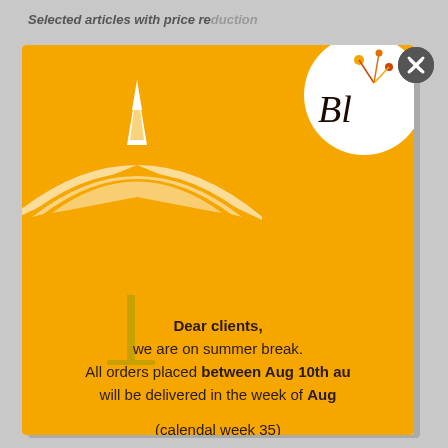Selected articles with price reduction
[Figure (screenshot): Modal popup with orange/yellow background showing a beach umbrella illustration and a circular logo (Bl...) in top right. Contains bilingual (English/German) summer break announcement text. A close X button appears in top right corner of the modal overlay.]
Dear clients, we are on summer break. All orders placed between Aug 10th and will be delivered in the week of Aug (calendal week 35)
Liebe Kunden, wir haben Sommerpause. Alle Bestellungen, die zwischen